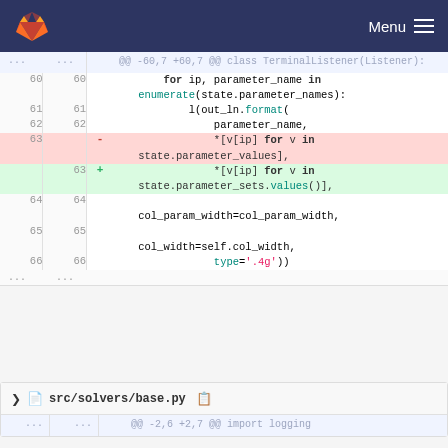GitLab Menu
[Figure (screenshot): GitLab diff view showing code changes in a Python file. Lines 60-66 visible with a deletion on line 63 (state.parameter_values) and addition on line 63 (state.parameter_sets.values()). Syntax highlighted Python code.]
v src/solvers/base.py  @@ -2,6 +2,7 @@ import logging